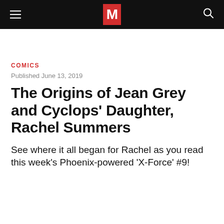M
COMICS
Published June 13, 2019
The Origins of Jean Grey and Cyclops' Daughter, Rachel Summers
See where it all began for Rachel as you read this week's Phoenix-powered 'X-Force' #9!